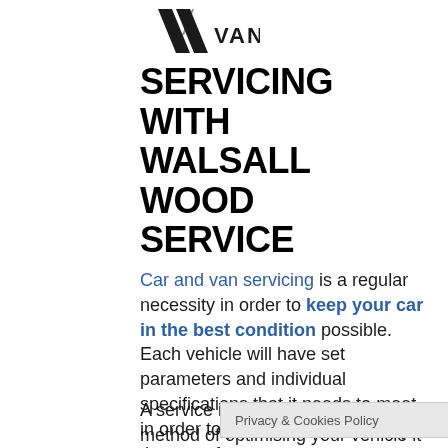[Figure (logo): Stylized 'M' logo with diagonal slash marks in black, with 'VAN' text to the right]
SERVICING WITH WALSALL WOOD SERVICE
Car and van servicing is a regular necessity in order to keep your car in the best condition possible. Each vehicle will have set parameters and individual specifications that it needs to meet in order to perform as intended by the manufacturer.
A service is more than just a method of optimising your vehicle it is the perfect way t... and increase